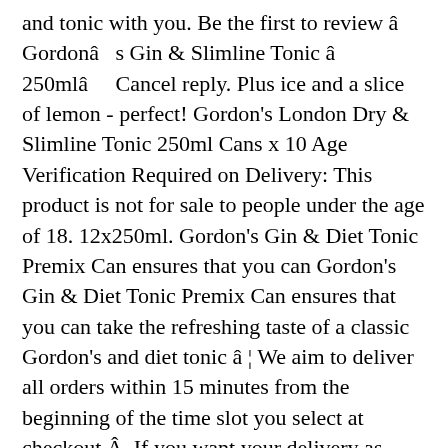and tonic with you. Be the first to review â   Gordonâ   s Gin & Slimline Tonic â  250mlâ     Cancel reply. Plus ice and a slice of lemon - perfect! Gordon's London Dry & Slimline Tonic 250ml Cans x 10 Age Verification Required on Delivery: This product is not for sale to people under the age of 18. 12x250ml. Gordon's Gin & Diet Tonic Premix Can ensures that you can Gordon's Gin & Diet Tonic Premix Can ensures that you can take the refreshing taste of a classic Gordon's and diet tonic â ¦ We aim to deliver all orders within 15 minutes from the beginning of the time slot you select at checkout.Â  If you want your delivery as soon as possible just choose the first time slot available and we'll get it to you as quickly as we